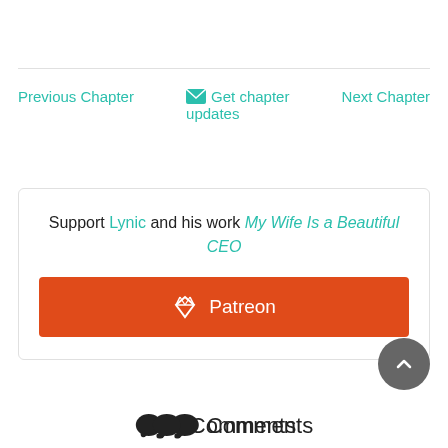Previous Chapter
✉ Get chapter updates
Next Chapter
Support Lynic and his work My Wife Is a Beautiful CEO
[Figure (other): Orange Patreon button with diamond icon]
💬 Comments